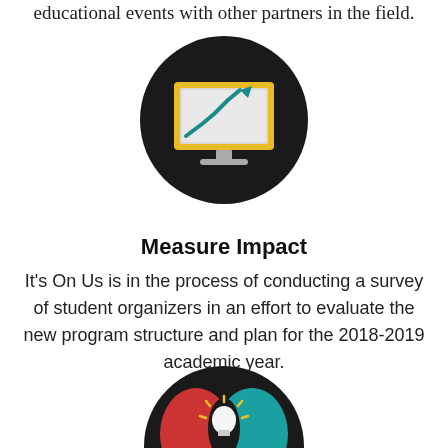educational events with other partners in the field.
[Figure (illustration): Dark circular icon with a computer monitor showing an upward trending chart arrow in teal and yellow colors on a light background]
Measure Impact
It's On Us is in the process of conducting a survey of student organizers in an effort to evaluate the new program structure and plan for the 2018-2019 academic year.
[Figure (illustration): Dark circular icon showing two profile heads (red and teal) facing each other with a light bulb in the center, partially cropped at the bottom of the page]